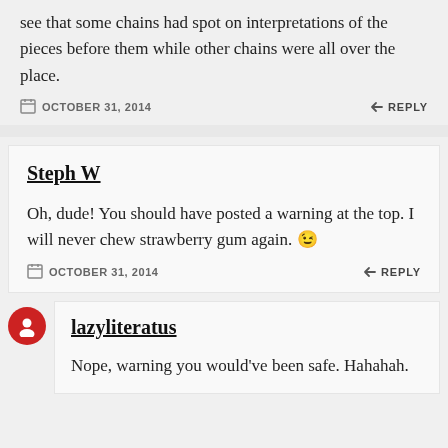see that some chains had spot on interpretations of the pieces before them while other chains were all over the place.
OCTOBER 31, 2014
REPLY
Steph W
Oh, dude! You should have posted a warning at the top. I will never chew strawberry gum again. 😉
OCTOBER 31, 2014
REPLY
lazyliteratus
Nope, warning you would've been safe. Hahahah.